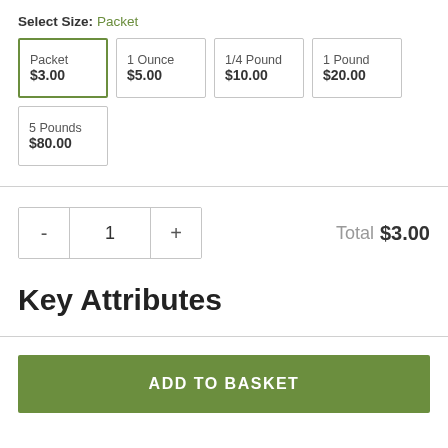Select Size: Packet
Packet $3.00 (selected)
1 Ounce $5.00
1/4 Pound $10.00
1 Pound $20.00
5 Pounds $80.00
- 1 + Total $3.00
Key Attributes
ADD TO BASKET